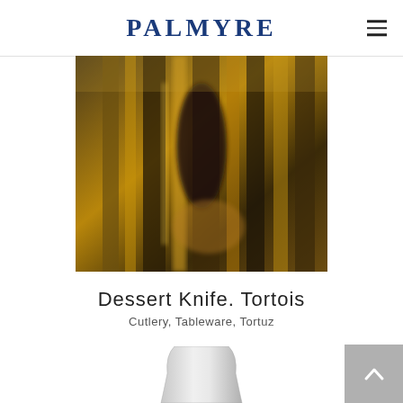PALMYRE
[Figure (photo): Close-up macro photo of a tortoiseshell-patterned dessert knife handle, showing amber, brown and dark tones with vertical ridges/grooves, blurred abstract appearance]
Dessert Knife. Tortois
Cutlery, Tableware, Tortuz
[Figure (photo): Partial view of a white/silver ceramic or metallic object, likely a vase or vessel, shown from the front on a white background]